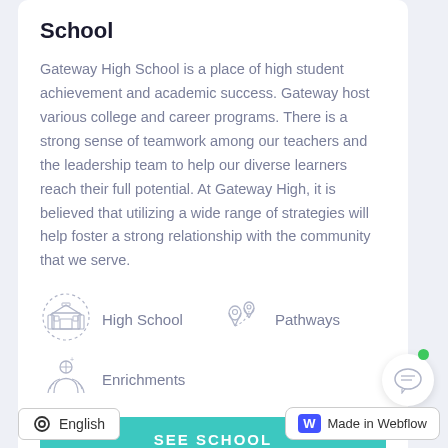School
Gateway High School is a place of high student achievement and academic success. Gateway host various college and career programs. There is a strong sense of teamwork among our teachers and the leadership team to help our diverse learners reach their full potential. At Gateway High, it is believed that utilizing a wide range of strategies will help foster a strong relationship with the community that we serve.
[Figure (infographic): High School icon: circular dotted border with a building/school illustration]
High School
[Figure (infographic): Pathways icon: two location pin icons connected by a dotted path]
Pathways
[Figure (infographic): Enrichments icon: person with plus sign held by two hands]
Enrichments
SEE SCHOOL
English
Made in Webflow